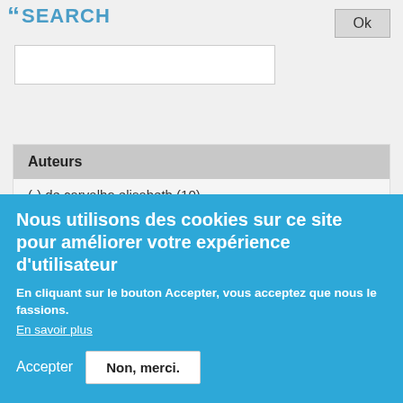99 SEARCH
Auteurs
(-) de carvalho elisabeth (10)
bonnet christian (36)
chang chia-yu (11)
cottatellucci laura (14)
datta soumya kanti (18)
de kerret paul (13)
deneire luc (13)
elia petros (24)
Paramètres de confidentialité
Nous utilisons des cookies sur ce site pour améliorer votre expérience d'utilisateur
En cliquant sur le bouton Accepter, vous acceptez que nous le fassions.
En savoir plus
Accepter
Non, merci.